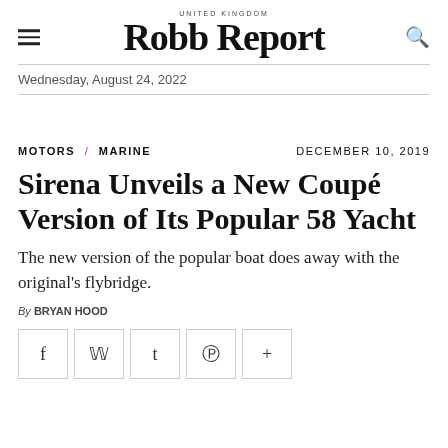UNITED KINGDOM
Robb Report
Wednesday, August 24, 2022
MOTORS / MARINE   DECEMBER 10, 2019
Sirena Unveils a New Coupé Version of Its Popular 58 Yacht
The new version of the popular boat does away with the original's flybridge.
By BRYAN HOOD